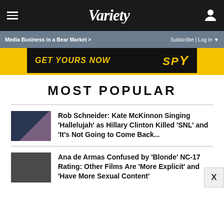VARIETY
Media Business in a Bear Market >   Subscribe | Log in
[Figure (screenshot): Advertisement banner: black background with yellow text 'GET YOURS NOW' and yellow 'SPY' logo]
MOST POPULAR
Rob Schneider: Kate McKinnon Singing 'Hallelujah' as Hillary Clinton Killed 'SNL' and 'It's Not Going to Come Back...
Ana de Armas Confused by 'Blonde' NC-17 Rating: Other Films Are 'More Explicit' and 'Have More Sexual Content'